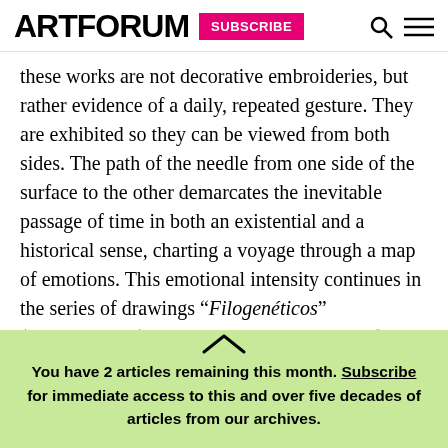ARTFORUM  SUBSCRIBE
these works are not decorative embroideries, but rather evidence of a daily, repeated gesture. They are exhibited so they can be viewed from both sides. The path of the needle from one side of the surface to the other demarcates the inevitable passage of time in both an existential and a historical sense, charting a voyage through a map of emotions. This emotional intensity continues in the series of drawings “Filogenéticos” (Phylogenetics), 2014–, a cycle consisting of amoeba-like acrylic ink compositions
You have 2 articles remaining this month. Subscribe for immediate access to this and over five decades of articles from our archives.